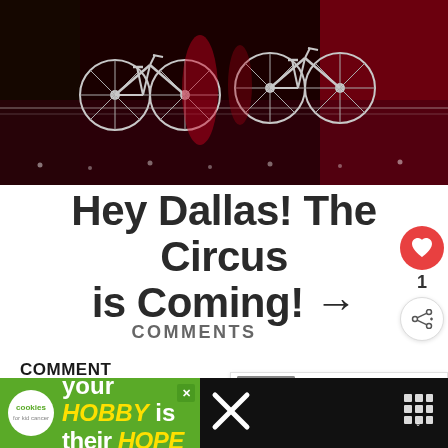[Figure (photo): Circus performers on bicycles on a high wire against a dark red and black stage backdrop with lights]
Hey Dallas! The Circus is Coming! →
COMMENTS
COMMENT
Write your comment...
[Figure (infographic): What's Next panel: Amazon Echo Show - GAM...]
[Figure (infographic): Advertisement banner: cookies for kid cancer - your HOBBY is their HOPE]